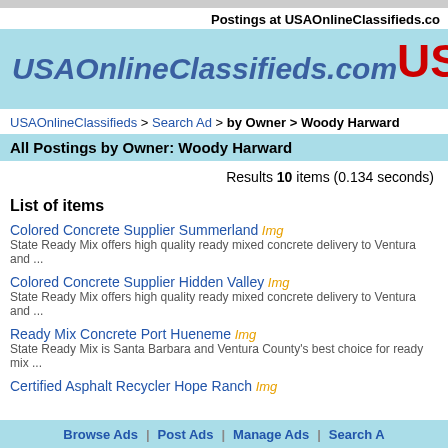Postings at USAOnlineClassifieds.co
[Figure (logo): USAOnlineClassifieds.com logo banner with light blue background, italic blue site name and red USA text with 100% below]
USAOnlineClassifieds > Search Ad > by Owner > Woody Harward
All Postings by Owner: Woody Harward
Results 10 items (0.134 seconds)
List of items
Colored Concrete Supplier Summerland Img
State Ready Mix offers high quality ready mixed concrete delivery to Ventura and ...
Colored Concrete Supplier Hidden Valley Img
State Ready Mix offers high quality ready mixed concrete delivery to Ventura and ...
Ready Mix Concrete Port Hueneme Img
State Ready Mix is Santa Barbara and Ventura County's best choice for ready mix ...
Certified Asphalt Recycler Hope Ranch Img
Browse Ads | Post Ads | Manage Ads | Search A